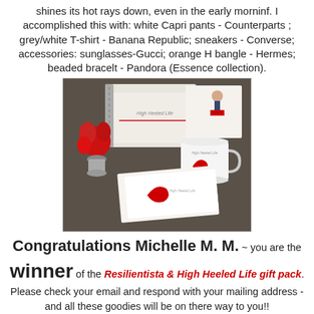shines its hot rays down, even in the early morninf. I accomplished this with: white Capri pants - Counterparts ; grey/white T-shirt - Banana Republic; sneakers - Converse; accessories: sunglasses-Gucci; orange H bangle - Hermes; beaded bracelt - Pandora (Essence collection).
[Figure (photo): A styled flat-lay photograph showing High Heeled Life branded merchandise: a spiral notebook, greeting cards with red high heel shoe illustrations, a white ceramic mug with red heel design, and a red flower in a small vase, arranged on a dark surface.]
Congratulations Michelle M. M. ~ you are the winner of the Resilientista & High Heeled Life gift pack. Please check your email and respond with your mailing address - and all these goodies will be on there way to you!!